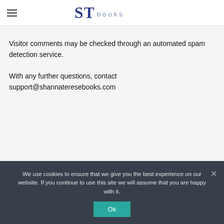ST books
Visitor comments may be checked through an automated spam detection service.
With any further questions, contact support@shannateresebooks.com
We use cookies to ensure that we give you the best experience on our website. If you continue to use this site we will assume that you are happy with it.